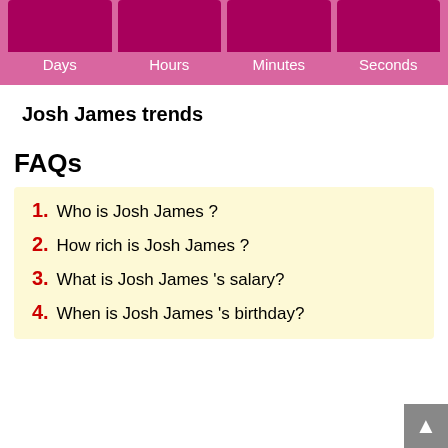[Figure (infographic): Countdown timer widget with four pink cells labeled Days, Hours, Minutes, Seconds. Each cell has a dark pink/maroon box on top and a lighter pink label below.]
Josh James trends
FAQs
1. Who is Josh James ?
2. How rich is Josh James ?
3. What is Josh James 's salary?
4. When is Josh James 's birthday?